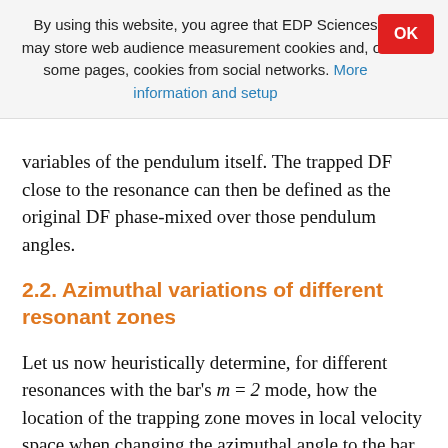By using this website, you agree that EDP Sciences may store web audience measurement cookies and, on some pages, cookies from social networks. More information and setup
variables of the pendulum itself. The trapped DF close to the resonance can then be defined as the original DF phase-mixed over those pendulum angles.
2.2. Azimuthal variations of different resonant zones
Let us now heuristically determine, for different resonances with the bar's m = 2 mode, how the location of the trapping zone moves in local velocity space when changing the azimuthal angle to the bar in configuration space. For this, let us consider a set of trapped orbits at the azimuth of the Sun within a small annulus of Galactocentric radii around the Sun, and hence with